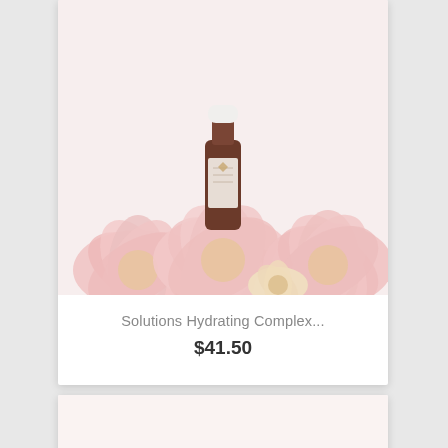[Figure (photo): Product card showing a dark glass dropper bottle with white cap placed on top of pink dahlia flowers against a light background. Card shows product name 'Solutions Hydrating Complex...' and price '$41.50'.]
Solutions Hydrating Complex...
$41.50
[Figure (photo): Second product card showing a gold cylindrical container with green leafy foliage and pink flowers arranged around a white tiered base, against a light pink background.]